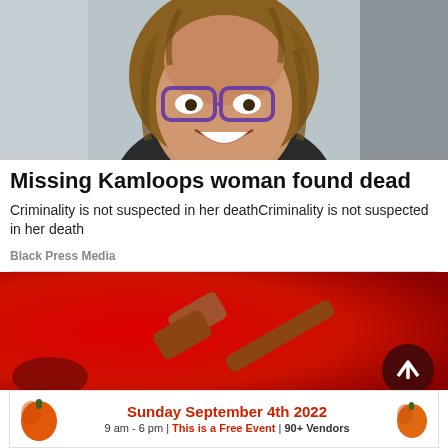[Figure (photo): Photo of a smiling woman with curly brown and blonde hair wearing glasses, shown from the shoulders up against a light background.]
Missing Kamloops woman found dead
Criminality is not suspected in her deathCriminality is not suspected in her death
Black Press Media
[Figure (photo): Red background advertisement banner with a gavel and auction-related imagery, with a scroll-to-top button overlay.]
[Figure (infographic): Advertisement banner with pumpkin imagery reading: Sunday September 4th 2022 | 9 am - 6 pm | This is a Free Event | 90+ Vendors]